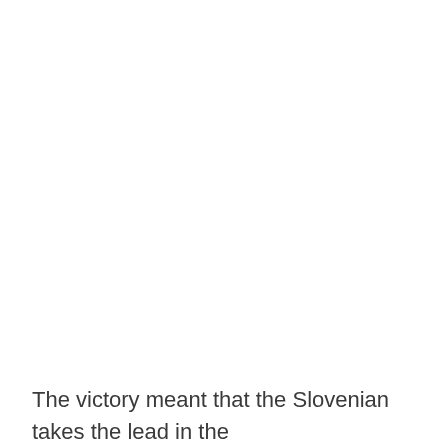The victory meant that the Slovenian takes the lead in the